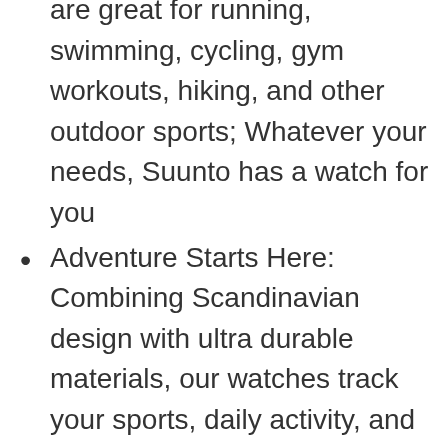are great for running, swimming, cycling, gym workouts, hiking, and other outdoor sports; Whatever your needs, Suunto has a watch for you
Adventure Starts Here: Combining Scandinavian design with ultra durable materials, our watches track your sports, daily activity, and sleep to help you keep life, training and recovery in balance
Authentic Heritage: Founded in 1936, Suunto brings over 80 years of high quality heritage craftsmanship, relentless accuracy,